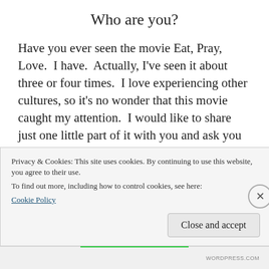Who are you?
Have you ever seen the movie Eat, Pray, Love.  I have.  Actually, I've seen it about three or four times.  I love experiencing other cultures, so it's no wonder that this movie caught my attention.  I would like to share just one little part of it with you and ask you to think about what it is that defines you.
While the main character, Liz was in Rome, she was having lunch with a group of friends and
Privacy & Cookies: This site uses cookies. By continuing to use this website, you agree to their use.
To find out more, including how to control cookies, see here:
Cookie Policy
Close and accept
WORDPRESS.COM